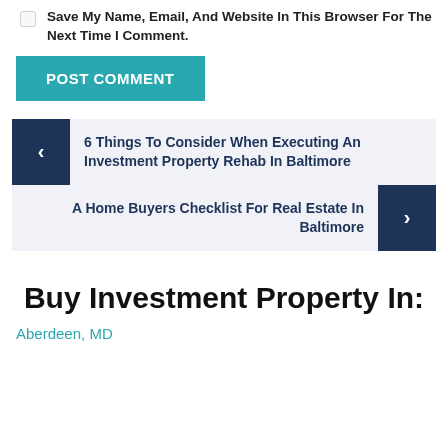Save My Name, Email, And Website In This Browser For The Next Time I Comment.
POST COMMENT
6 Things To Consider When Executing An Investment Property Rehab In Baltimore
A Home Buyers Checklist For Real Estate In Baltimore
Buy Investment Property In:
Aberdeen, MD